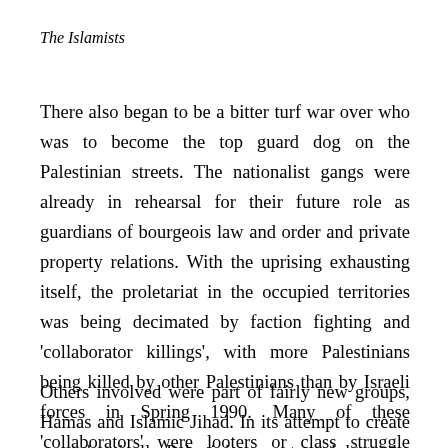The Islamists
There also began to be a bitter turf war over who was to become the top guard dog on the Palestinian streets. The nationalist gangs were already in rehearsal for their future role as guardians of bourgeois law and order and private property relations. With the uprising exhausting itself, the proletariat in the occupied territories was being decimated by faction fighting and 'collaborator killings', with more Palestinians being killed by other Palestinians than by Israeli forces in Spring 1990. Many of these 'collaborators' were looters or class struggle militants.
Others involved were part of fairly new groups, Hamas and Islamic Jihad. In its attempt to create an authentically Palestinian counterweight to the PLO,